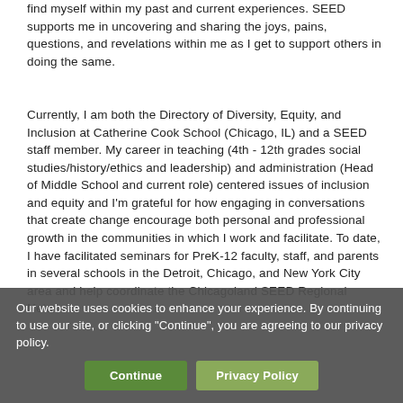find myself within my past and current experiences. SEED supports me in uncovering and sharing the joys, pains, questions, and revelations within me as I get to support others in doing the same.
Currently, I am both the Directory of Diversity, Equity, and Inclusion at Catherine Cook School (Chicago, IL) and a SEED staff member. My career in teaching (4th - 12th grades social studies/history/ethics and leadership) and administration (Head of Middle School and current role) centered issues of inclusion and equity and I'm grateful for how engaging in conversations that create change encourage both personal and professional growth in the communities in which I work and facilitate. To date, I have facilitated seminars for PreK-12 faculty, staff, and parents in several schools in the Detroit, Chicago, and New York City area and help coordinate the Chicagoland SEED Regional Network.
Our website uses cookies to enhance your experience. By continuing to use our site, or clicking "Continue", you are agreeing to our privacy policy.